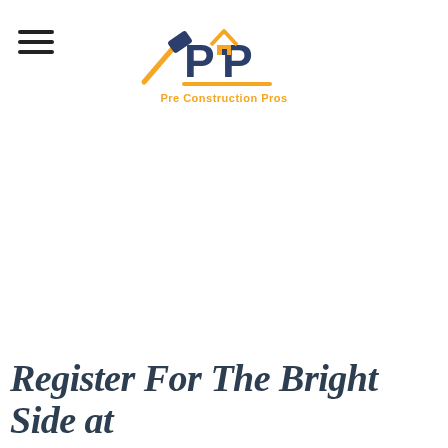Pre Construction Pros
Register For The Bright Side at